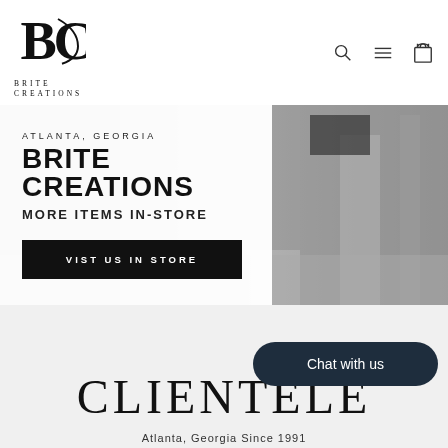[Figure (logo): Brite Creations BC monogram logo with serif letterforms]
BRITE
CREATIONS
[Figure (photo): Street-level exterior photo of a building in Atlanta Georgia, grey tones]
ATLANTA, GEORGIA
BRITE CREATIONS
MORE ITEMS IN-STORE
VIST US IN STORE
Chat with us
CLIENTELE
Atlanta, Georgia Since 1991